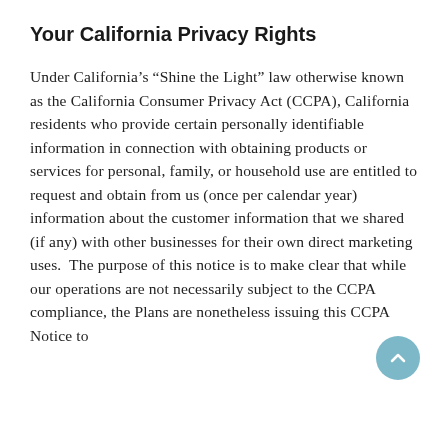Your California Privacy Rights
Under California's “Shine the Light” law otherwise known as the California Consumer Privacy Act (CCPA), California residents who provide certain personally identifiable information in connection with obtaining products or services for personal, family, or household use are entitled to request and obtain from us (once per calendar year) information about the customer information that we shared (if any) with other businesses for their own direct marketing uses.  The purpose of this notice is to make clear that while our operations are not necessarily subject to the CCPA compliance, the Plans are nonetheless issuing this CCPA Notice to